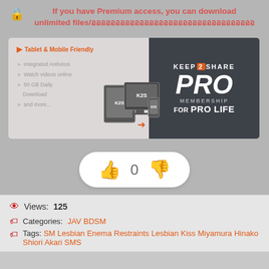If you have Premium access, you can download unlimited files/ออออออออออออออออออออออออออออออออออ
[Figure (infographic): Keep2Share PRO Membership for PRO LIFE advertisement banner showing tablet and mobile friendly features including Integrated Antivirus, Watch videos online, 50 GB Daily Download, and more, with K2S device icons on left and PRO MEMBERSHIP for PRO LIFE text on dark right side]
[Figure (infographic): Vote/rating pill widget showing thumbs up icon, number 0, and thumbs down icon on white rounded pill background]
Views: 125
Categories: JAV BDSM
Tags: SM Lesbian Enema Restraints Lesbian Kiss Miyamura Hinako Shiori Akari SMS